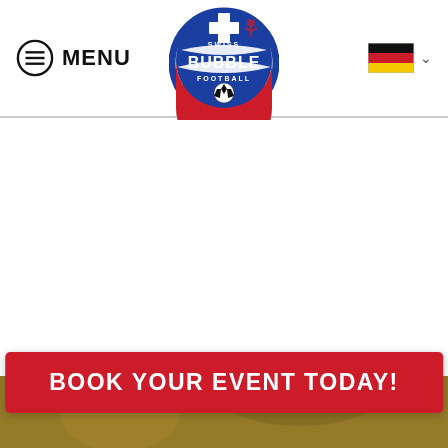[Figure (logo): Swiss Bubble Football logo — circular badge with blue/red/white colors, soccer ball, text 'SWISS BUBBLE FOOTBALL']
MENU | Swiss Bubble Football logo | German flag language selector
BOOK YOUR EVENT TODAY!